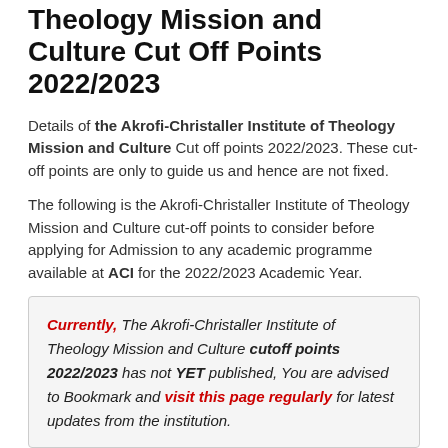Theology Mission and Culture Cut Off Points 2022/2023
Details of the Akrofi-Christaller Institute of Theology Mission and Culture Cut off points 2022/2023. These cut-off points are only to guide us and hence are not fixed.
The following is the Akrofi-Christaller Institute of Theology Mission and Culture cut-off points to consider before applying for Admission to any academic programme available at ACI for the 2022/2023 Academic Year.
Currently, The Akrofi-Christaller Institute of Theology Mission and Culture cutoff points 2022/2023 has not YET published, You are advised to Bookmark and visit this page regularly for latest updates from the institution.
However, if you have any Suggestion OR Feeling regarding the Akrofi-Christaller Institute of Theology Mission and Culture cut off points 2022/2023, Please kindly DROP A